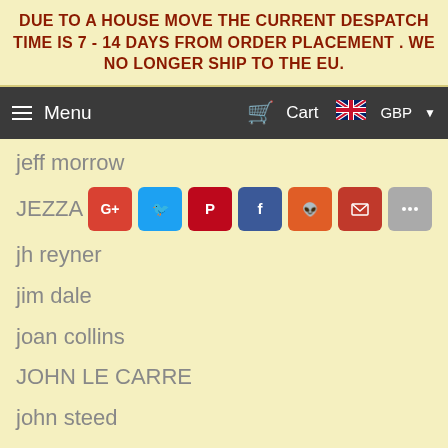DUE TO A HOUSE MOVE THE CURRENT DESPATCH TIME IS 7 - 14 DAYS FROM ORDER PLACEMENT . WE NO LONGER SHIP TO THE EU.
Menu  Cart  GBP
jeff morrow
JEZZA
jh reyner
jim dale
joan collins
JOHN LE CARRE
john steed
john steed research
John Wyndham
jok
jon pertwee